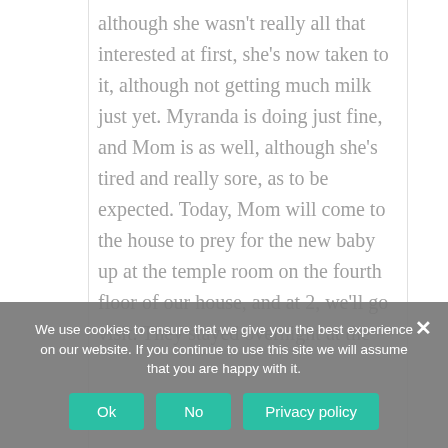although she wasn't really all that interested at first, she's now taken to it, although not getting much milk just yet. Myranda is doing just fine, and Mom is as well, although she's tired and really sore, as to be expected. Today, Mom will come to the house to prey for the new baby up at the temple room on the fourth floor of our house, and at 2, we'll go visit. They stayed overnight at the
We use cookies to ensure that we give you the best experience on our website. If you continue to use this site we will assume that you are happy with it.